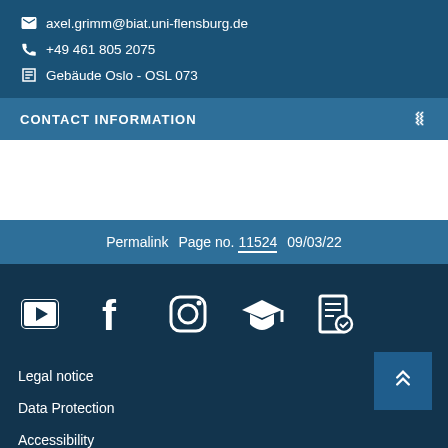axel.grimm@biat.uni-flensburg.de
+49 461 805 2075
Gebäude Oslo - OSL 073
CONTACT INFORMATION
Permalink   Page no. 11524   09/03/22
[Figure (other): Social media and other icons: YouTube, Facebook, Instagram, graduation cap, certificate]
Legal notice
Data Protection
Accessibility